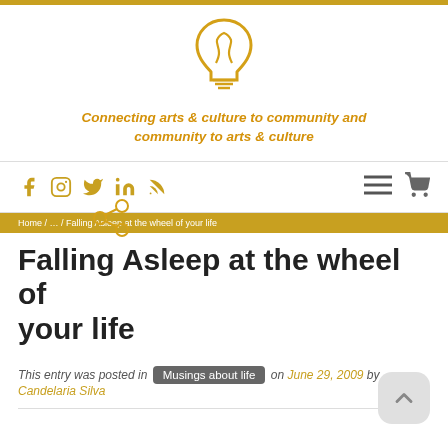[Figure (logo): Golden lightbulb icon]
Connecting arts & culture to community and community to arts & culture
Social media navigation bar with Facebook, Instagram, Twitter, LinkedIn, RSS icons and hamburger menu and cart icon
Home / … / Falling Asleep at the wheel of your life (breadcrumb)
Falling Asleep at the wheel of your life
This entry was posted in Musings about life on June 29, 2009 by Candelaria Silva